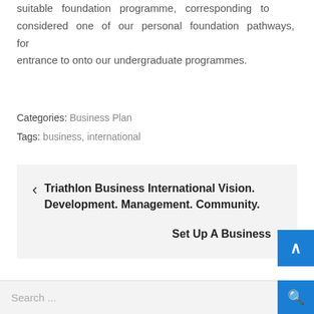suitable foundation programme, corresponding to considered one of our personal foundation pathways, for entrance to onto our undergraduate programmes.
Categories: Business Plan
Tags: business, international
‹ Triathlon Business International Vision. Development. Management. Community.
Set Up A Business ›
Search ...